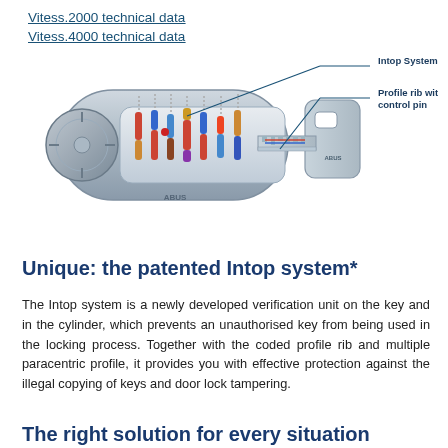Vitess.2000 technical data
Vitess.4000 technical data
[Figure (engineering-diagram): Cross-section diagram of an ABUS lock cylinder with a key beside it. Two annotation lines point to internal components labeled 'Intop System' and 'Profile rib with control pin'. The key shows profile ribs and the ABUS logo.]
Unique: the patented Intop system*
The Intop system is a newly developed verification unit on the key and in the cylinder, which prevents an unauthorised key from being used in the locking process. Together with the coded profile rib and multiple paracentric profile, it provides you with effective protection against the illegal copying of keys and door lock tampering.
The right solution for every situation